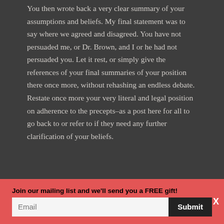You then wrote back a very clear summary of your assumptions and beliefs. My final statement was to say where we agreed and disagreed. You have not persuaded me, or Dr. Brown, and I or he had not persuaded you. Let it rest, or simply give the references of your final summaries of your position there once more, without rehashing an endless debate. Restate once more your very literal and legal position on adherence to the precepts–as a post here for all to go back to or refer to if they need any further clarification of your beliefs.
Join our mailing list and we'll send you a FREE gift!